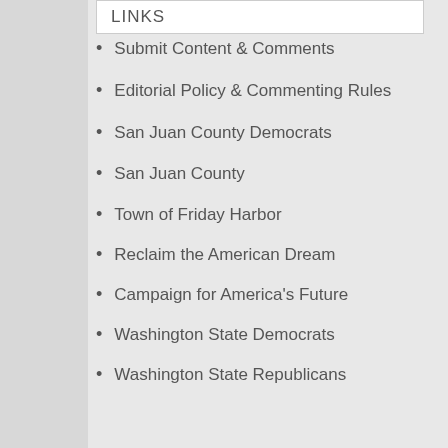LINKS
Submit Content & Comments
Editorial Policy & Commenting Rules
San Juan County Democrats
San Juan County
Town of Friday Harbor
Reclaim the American Dream
Campaign for America's Future
Washington State Democrats
Washington State Republicans
Your representatives in DC
U.S. Senator Patty Murray
U.S. Senator Maria Cantwell
Rep. Rick Larsen
Your representatives in Olympia